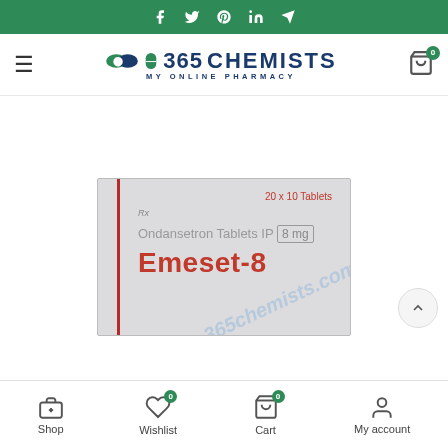365 Chemists - My Online Pharmacy
[Figure (screenshot): Product image of Emeset-8 (Ondansetron Tablets IP 8 mg) box, 20 x 10 Tablets, with watermark 365chemists.com]
Shop | Wishlist 0 | Cart 0 | My account